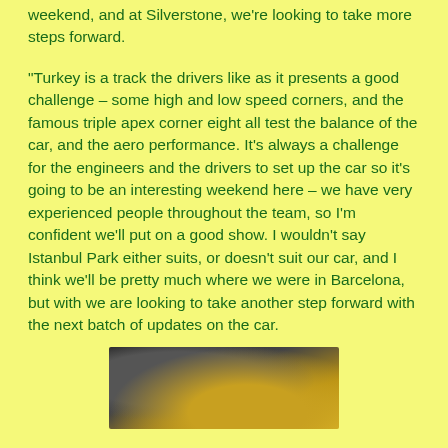weekend, and at Silverstone, we're looking to take more steps forward.
"Turkey is a track the drivers like as it presents a good challenge – some high and low speed corners, and the famous triple apex corner eight all test the balance of the car, and the aero performance. It's always a challenge for the engineers and the drivers to set up the car so it's going to be an interesting weekend here – we have very experienced people throughout the team, so I'm confident we'll put on a good show. I wouldn't say Istanbul Park either suits, or doesn't suit our car, and I think we'll be pretty much where we were in Barcelona, but with we are looking to take another step forward with the next batch of updates on the car.
[Figure (photo): A close-up photo of a person, partially visible, with yellow/gold and grey/dark tones suggesting racing attire or equipment.]